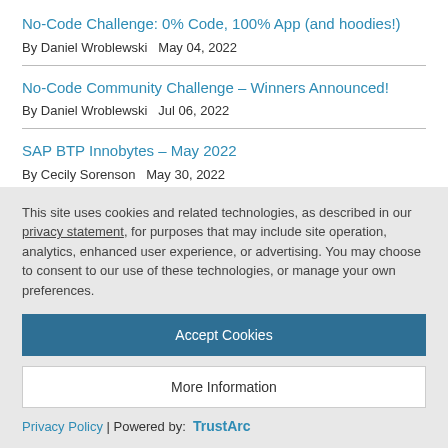No-Code Challenge: 0% Code, 100% App (and hoodies!)
By Daniel Wroblewski  May 04, 2022
No-Code Community Challenge – Winners Announced!
By Daniel Wroblewski  Jul 06, 2022
SAP BTP Innobytes – May 2022
By Cecily Sorenson  May 30, 2022
This site uses cookies and related technologies, as described in our privacy statement, for purposes that may include site operation, analytics, enhanced user experience, or advertising. You may choose to consent to our use of these technologies, or manage your own preferences.
Accept Cookies
More Information
Privacy Policy | Powered by: TrustArc